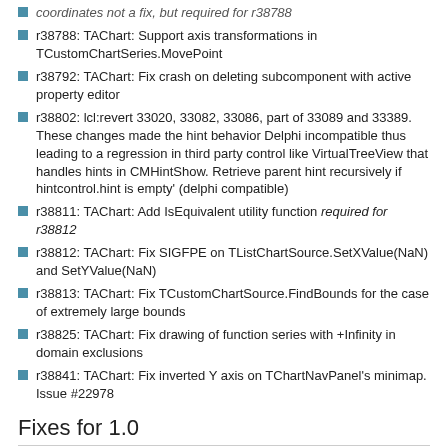coordinates not a fix, but required for r38788
r38788: TAChart: Support axis transformations in TCustomChartSeries.MovePoint
r38792: TAChart: Fix crash on deleting subcomponent with active property editor
r38802: lcl:revert 33020, 33082, 33086, part of 33089 and 33389. These changes made the hint behavior Delphi incompatible thus leading to a regression in third party control like VirtualTreeView that handles hints in CMHintShow. Retrieve parent hint recursively if hintcontrol.hint is empty' (delphi compatible)
r38811: TAChart: Add IsEquivalent utility function required for r38812
r38812: TAChart: Fix SIGFPE on TListChartSource.SetXValue(NaN) and SetYValue(NaN)
r38813: TAChart: Fix TCustomChartSource.FindBounds for the case of extremely large bounds
r38825: TAChart: Fix drawing of function series with +Infinity in domain exclusions
r38841: TAChart: Fix inverted Y axis on TChartNavPanel's minimap. Issue #22978
Fixes for 1.0
Merged revisions for 1.0.0